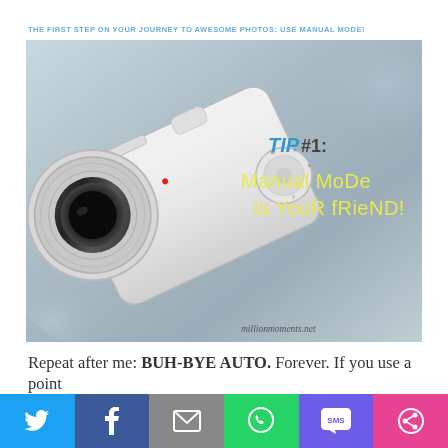THE FIRST STEP ON YOUR JOURNEY TO AWESOME PHOTOS: USE MANUAL MODE!
[Figure (photo): Top-down view of a white mirrorless camera with lens, overlaid with text: TIP #1: Manual Mode is Your Friend! and watermark millionmoments.net]
Repeat after me: BUH-BYE AUTO.  Forever.  If you use a point
[Figure (infographic): Social sharing bar with icons: Twitter (blue), Facebook (dark blue), Email (gray), WhatsApp (green), SMS (purple), Share (pink)]